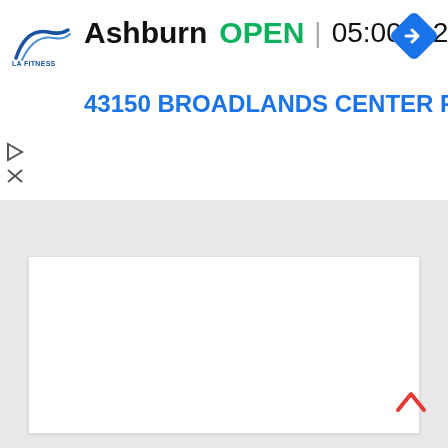[Figure (screenshot): LA Fitness logo — stylized swoosh with 'LA FITNESS' text]
Ashburn  OPEN  05:00 – 23:00
43150 BROADLANDS CENTER P
[Figure (other): Blue diamond-shaped navigation/directions icon with right-turn arrow]
[Figure (other): Play and close (X) icons on left side]
[Figure (other): Chevron-up tab / drawer handle]
[Figure (other): Large white content panel (map or list area, currently blank)]
[Figure (other): Red chevron-up scroll button at bottom right]